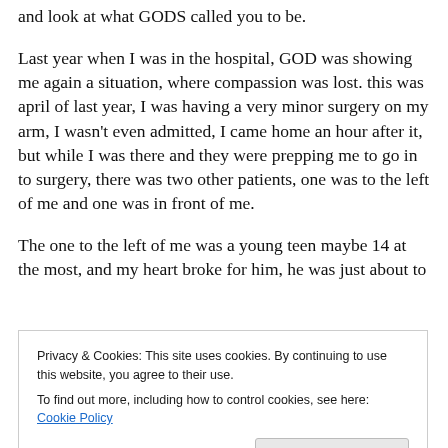and look at what GODS called you to be.
Last year when I was in the hospital, GOD was showing me again a situation, where compassion was lost. this was april of last year, I was having a very minor surgery on my arm, I wasn't even admitted, I came home an hour after it, but while I was there and they were prepping me to go in to surgery, there was two other patients, one was to the left of me and one was in front of me.
The one to the left of me was a young teen maybe 14 at the most, and my heart broke for him, he was just about to
Privacy & Cookies: This site uses cookies. By continuing to use this website, you agree to their use.
To find out more, including how to control cookies, see here: Cookie Policy
the situation was this, the kid was in foster care, and you